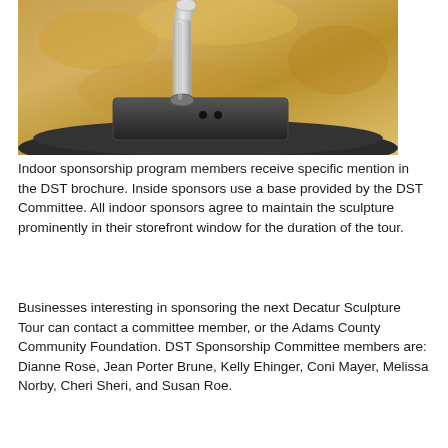[Figure (photo): Close-up photo of a metallic sculpture base on a dark round platform, with a chrome/metal arm extending upward against a golden/marbled background.]
Indoor sponsorship program members receive specific mention in the DST brochure. Inside sponsors use a base provided by the DST Committee. All indoor sponsors agree to maintain the sculpture prominently in their storefront window for the duration of the tour.
Businesses interesting in sponsoring the next Decatur Sculpture Tour can contact a committee member, or the Adams County Community Foundation. DST Sponsorship Committee members are: Dianne Rose, Jean Porter Brune, Kelly Ehinger, Coni Mayer, Melissa Norby, Cheri Sheri, and Susan Roe.